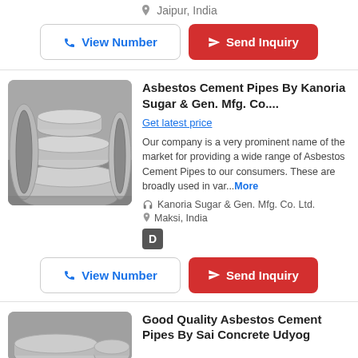📍 Jaipur, India
View Number | Send Inquiry
Asbestos Cement Pipes By Kanoria Sugar & Gen. Mfg. Co....
Get latest price
Our company is a very prominent name of the market for providing a wide range of Asbestos Cement Pipes to our consumers. These are broadly used in var...More
Kanoria Sugar & Gen. Mfg. Co. Ltd.
Maksi, India
[Figure (photo): Asbestos cement pipes stacked together]
View Number | Send Inquiry
Good Quality Asbestos Cement Pipes By Sai Concrete Udyog
[Figure (photo): Asbestos cement pipes partially visible at bottom]